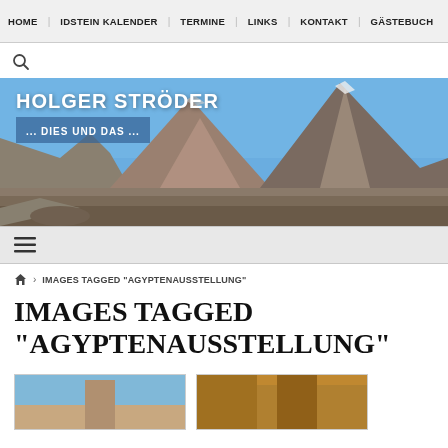HOME | IDSTEIN KALENDER | TERMINE | LINKS | KONTAKT | GÄSTEBUCH
[Figure (screenshot): Search icon (magnifying glass)]
[Figure (photo): Hero banner with mountain landscape photo. Title overlay: HOLGER STRÖDER / ... DIES UND DAS ...]
[Figure (other): Hamburger menu icon (three horizontal lines)]
🏠 › IMAGES TAGGED "AGYPTENAUSSTELLUNG"
IMAGES TAGGED "AGYPTENAUSSTELLUNG"
[Figure (photo): Two thumbnail images partially visible at the bottom of the page]